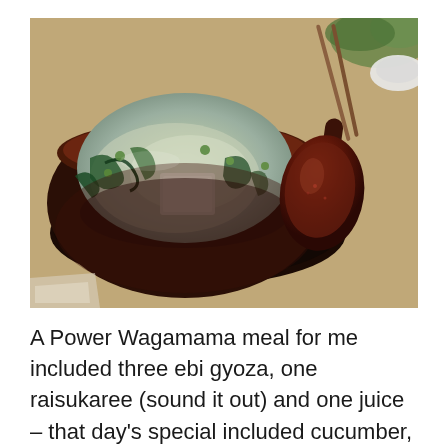[Figure (photo): A photograph of a traditional Japanese miso soup bowl (dark red/maroon lacquer bowl) filled with miso soup containing tofu, seaweed, and green onions, with a matching red lacquer soup spoon resting beside it on a dark surface. The image is taken from above at a slight angle. Background shows a wooden table with other items partially visible.]
A Power Wagamama meal for me included three ebi gyoza, one raisukaree (sound it out) and one juice – that day's special included cucumber, apple and lemon. The ebi raisukaree is a dish of prawns stir-fried